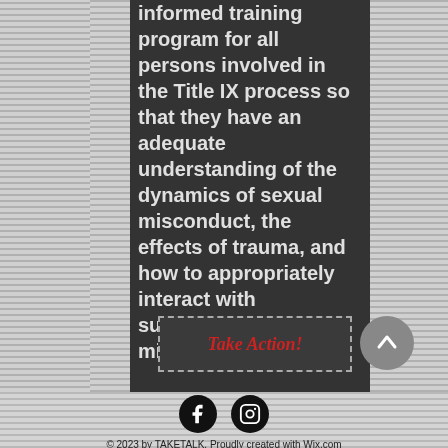informed training program for all persons involved in the Title IX process so that they have an adequate understanding of the dynamics of sexual misconduct, the effects of trauma, and how to appropriately interact with survivors of sexual misconduct.
[Figure (other): Take Action! button with dashed border in red italic serif text]
[Figure (other): Scroll-to-top button: grey circle with upward chevron arrow]
[Figure (logo): Facebook and Instagram social media icons in black circles]
© 2023 by TAKETALK. Proudly created with Wix.com